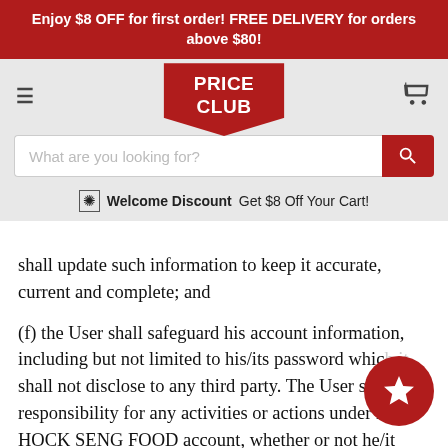Enjoy $8 OFF for first order! FREE DELIVERY for orders above $80!
[Figure (logo): Price Club logo - red shield/badge shape with white bold text PRICE CLUB]
Welcome Discount Get $8 Off Your Cart!
shall update such information to keep it accurate, current and complete; and
(f) the User shall safeguard his account information, including but not limited to his/its password which it shall not disclose to any third party. The User shall sole responsibility for any activities or actions under his/its HOCK SENG FOOD account, whether or not he/it